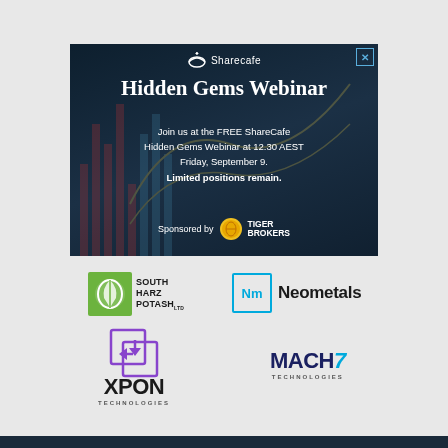[Figure (infographic): Sharecafe Hidden Gems Webinar advertisement banner with dark blue/teal background showing stock chart graphics. Contains Sharecafe logo at top, title 'Hidden Gems Webinar', webinar details text, and Tiger Brokers sponsorship logo.]
Hidden Gems Webinar
Join us at the FREE ShareCafe Hidden Gems Webinar at 12.30 AEST Friday, September 9. Limited positions remain.
Sponsored by TIGER BROKERS
[Figure (logo): South Harz Potash Ltd logo - green square icon with leaf/seed design, text reading SOUTH HARZ POTASH Ltd]
[Figure (logo): Neometals logo - cyan square border with 'Nm' text, followed by 'Neometals' wordmark]
[Figure (logo): XPON Technologies logo - purple square arrow icon with XPON wordmark and TECHNOLOGIES subtitle]
[Figure (logo): MACH7 Technologies logo - dark blue MACH with cyan 7, TECHNOLOGIES subtitle]